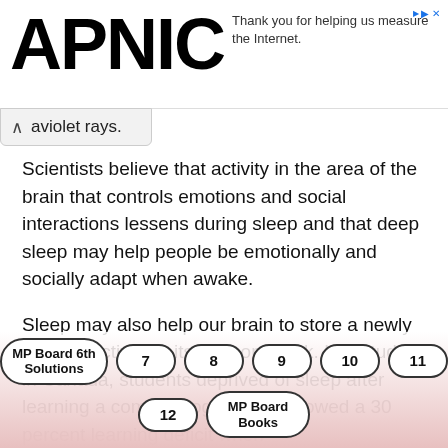APNIC — Thank you for helping us measure the Internet.
aviolet rays.
Scientists believe that activity in the area of the brain that controls emotions and social interactions lessens during sleep and that deep sleep may help people be emotionally and socially adapt when awake.
Sleep may also help our brain to store a newly learned activity in its memory bank. In a study in Canada, students deprived of sleep after learning a complex logic game showed a 30 percent learning deficit when
MP Board 6th Solutions  7  8  9  10  11  12  MP Board Books